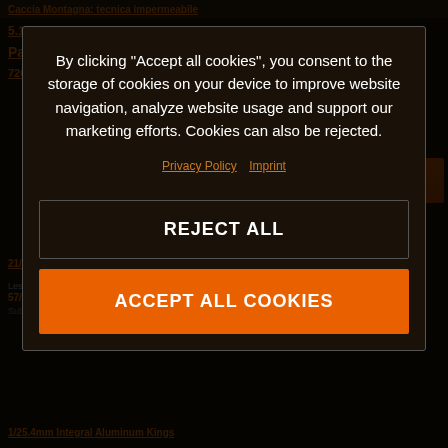Caccia Montagna: tecnica impermeabile
By clicking “Accept all cookies”, you consent to the storage of cookies on your device to improve website navigation, analyze website usage and support our marketing efforts. Cookies can also be rejected.
Privacy Policy  Imprint
REJECT ALL
ACCEPT ALL COOKIES
1/25.4mm Integral Aluminum Kings